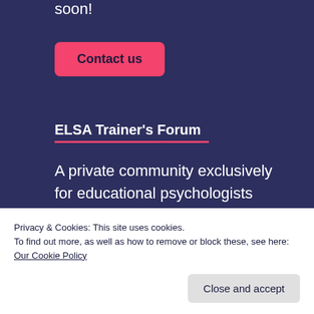soon!
Contact us
ELSA Trainer's Forum
A private community exclusively for educational psychologists registered as ELSA trainers
Log in
Privacy & Cookies: This site uses cookies. To find out more, as well as how to remove or block these, see here: Our Cookie Policy
Close and accept